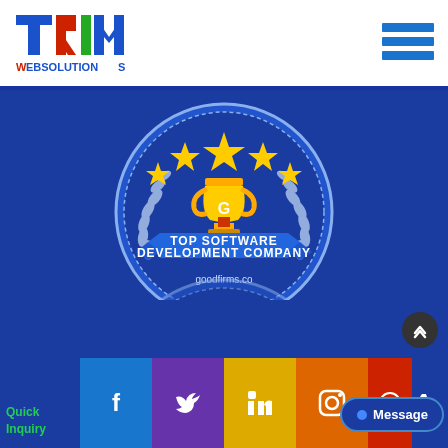[Figure (logo): TRIM WEBSOLUTIONS logo with blue T, red R, green I, blue M letters and red/blue WEBSOLUTIONS text below]
[Figure (illustration): Hamburger menu icon with three blue horizontal bars]
[Figure (infographic): Award badge on blue background: circular badge with laurel wreath, gold trophy with 'G' letter, five gold stars, blue ribbon banner reading 'TOP SOFTWARE DEVELOPMENT COMPANY', text 'goodfirms.co' below. A reflection of the badge appears below it.]
[Figure (infographic): Social media footer bar with Facebook (blue), Twitter (purple), LinkedIn (yellow/gold), Instagram (orange), WhatsApp (green/red), Phone (red) icons, plus Message button and scroll-up button]